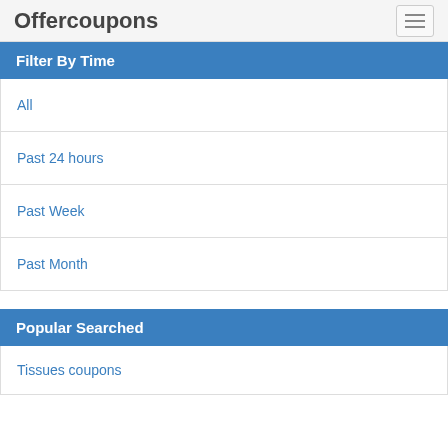Offercoupons
Filter By Time
All
Past 24 hours
Past Week
Past Month
Popular Searched
Tissues coupons